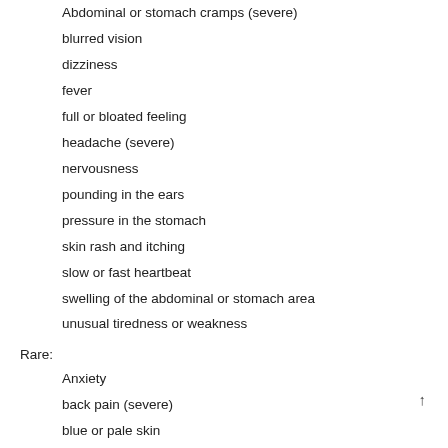Abdominal or stomach cramps (severe)
blurred vision
dizziness
fever
full or bloated feeling
headache (severe)
nervousness
pounding in the ears
pressure in the stomach
skin rash and itching
slow or fast heartbeat
swelling of the abdominal or stomach area
unusual tiredness or weakness
Rare:
Anxiety
back pain (severe)
blue or pale skin
chest pain, possibly moving to the left arm, neck, or shoulder
chills
nausea or vomiting
shortness of breath
yellow eyes or skin